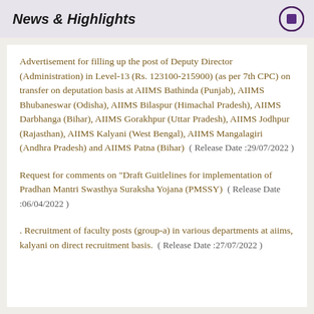News & Highlights
Advertisement for filling up the post of Deputy Director (Administration) in Level-13 (Rs. 123100-215900) (as per 7th CPC) on transfer on deputation basis at AIIMS Bathinda (Punjab), AIIMS Bhubaneswar (Odisha), AIIMS Bilaspur (Himachal Pradesh), AIIMS Darbhanga (Bihar), AIIMS Gorakhpur (Uttar Pradesh), AIIMS Jodhpur (Rajasthan), AIIMS Kalyani (West Bengal), AIIMS Mangalagiri (Andhra Pradesh) and AIIMS Patna (Bihar)  ( Release Date :29/07/2022 )
Request for comments on "Draft Guitlelines for implementation of Pradhan Mantri Swasthya Suraksha Yojana (PMSSY)  ( Release Date :06/04/2022 )
. Recruitment of faculty posts (group-a) in various departments at aiims, kalyani on direct recruitment basis.  ( Release Date :27/07/2022 )